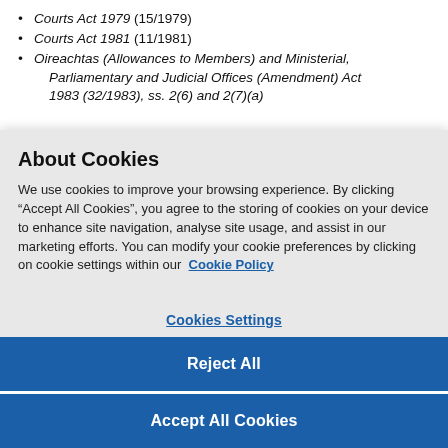Courts Act 1979 (15/1979)
Courts Act 1981 (11/1981)
Oireachtas (Allowances to Members) and Ministerial, Parliamentary and Judicial Offices (Amendment) Act 1983 (32/1983), ss. 2(6) and 2(7)(a)
About Cookies
We use cookies to improve your browsing experience. By clicking “Accept All Cookies”, you agree to the storing of cookies on your device to enhance site navigation, analyse site usage, and assist in our marketing efforts. You can modify your cookie preferences by clicking on cookie settings within our  Cookie Policy
Cookies Settings
Reject All
Accept All Cookies